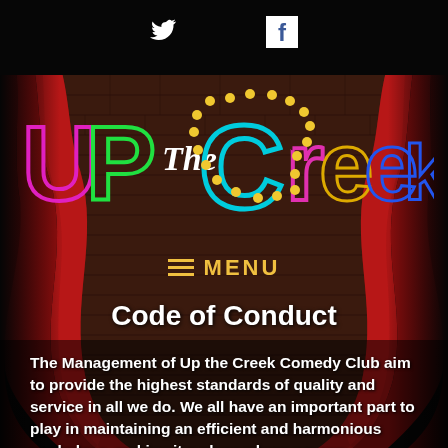[Figure (illustration): Stage with red curtains and brick background, dark theater setting]
[Figure (logo): Social media icons: Twitter bird icon and Facebook 'f' icon on black bar at top]
[Figure (logo): Up The Creek comedy club logo in colorful neon-style letters over stage background]
≡ MENU
Code of Conduct
The Management of Up the Creek Comedy Club aim to provide the highest standards of quality and service in all we do. We all have an important part to play in maintaining an efficient and harmonious workplace, making it a place where we can maximise potential for the benefit of acts performing, employees and customers. We will do whatever we can to